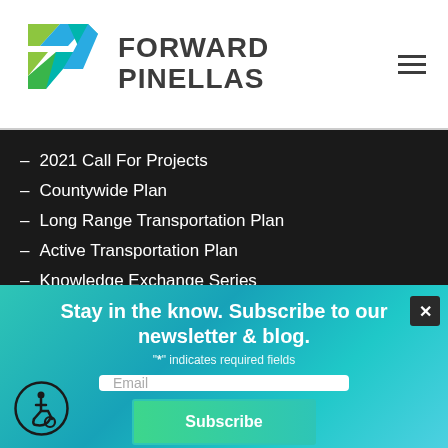[Figure (logo): Forward Pinellas logo with colorful arrow/chevron icon in green, blue, and teal]
FORWARD
PINELLAS
– 2021 Call For Projects
– Countywide Plan
– Long Range Transportation Plan
– Active Transportation Plan
– Knowledge Exchange Series
Stay in the know. Subscribe to our newsletter & blog.
"*" indicates required fields
Email
Subscribe